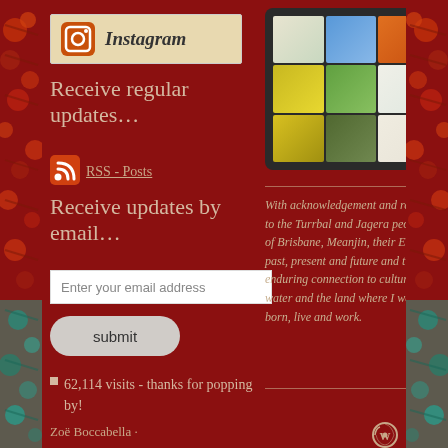[Figure (logo): Instagram logo badge with camera icon and 'Instagram' text on beige background]
Receive regular updates…
[Figure (logo): RSS feed icon (orange wave symbol)]
RSS - Posts
Receive updates by email…
Enter your email address
submit
62,114 visits - thanks for popping by!
[Figure (photo): 3x3 grid of botanical/flower photos on dark tablet frame]
With acknowledgement and respect to the Turrbal and Jagera peoples of Brisbane, Meanjin, their Elders past, present and future and their enduring connection to culture, water and the land where I was born, live and work.
Zoë Boccabella ·